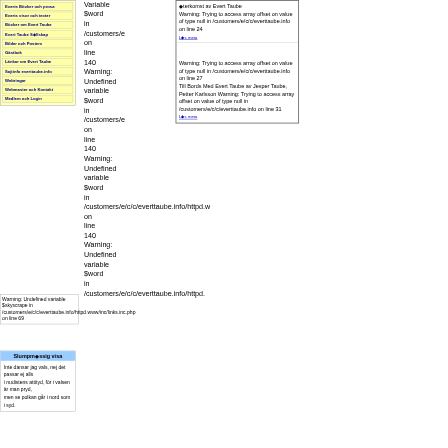Everts Böcker och prosa
Everts visor och texter
Böcker om Evert Taube
Evert Taube Sällskap
Bilder och Posters
Gästbok
Länkar om Evert Taube
Sajtinfo everttaube.info
Webringar
Webmaster och Kontakt
Medlem och Login
Warning: Undefined variable $skyscrape in /customers/e/c/c/everttaube.info/httpd.www/inc/links.inc.php on line 69
Slumpmässig visa
Inte dansar jag vals, nej det passar ej alls
i nudistens attityd, för i valsen är man pryd,
men se polkan går i nord som i syd.
Warning: Undefined variable $word in /customers/e/c/c/everttaube.info/httpd.www/inc/links.inc.php on line 140 Warning: Undefined variable $word in /customers/e/c/c/everttaube.info/httpd.www/inc/links.inc.php on line 140 Warning: Undefined variable $word in /customers/e/c/c/everttaube.info/httpd.www/inc/links.inc.php on line 140
Warning: Trying to access array offset on value of type null in /customers/e/c/c/everttaube.info on line 24
Läs mera
Warning: Trying to access array offset on value of type null in /customers/e/c/c/everttaube.info on line 27
Till Bords Med Evert Taube av Jesper Taube, Petter Karlsson
Warning: Trying to access array offset on value of type null in /customers/e/c/c/everttaube.info on line 31
Läs mera